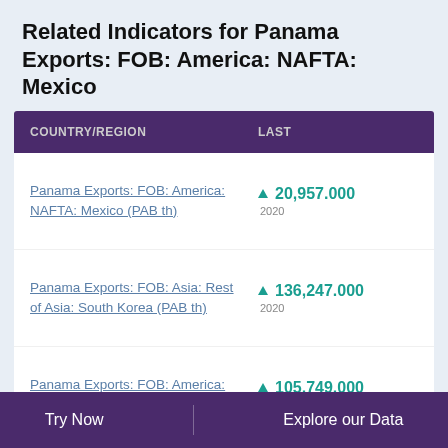Related Indicators for Panama Exports: FOB: America: NAFTA: Mexico
| COUNTRY/REGION | LAST |
| --- | --- |
| Panama Exports: FOB: America: NAFTA: Mexico (PAB th) | ▲ 20,957.000
2020 |
| Panama Exports: FOB: Asia: Rest of Asia: South Korea (PAB th) | ▲ 136,247.000
2020 |
| Panama Exports: FOB: America: NAFTA: USA (PAB th) | ▲ 105,749.000
2020 |
Try Now    Explore our Data